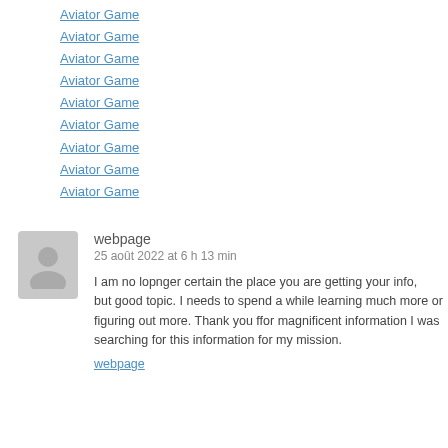Aviator Game
Aviator Game
Aviator Game
Aviator Game
Aviator Game
Aviator Game
Aviator Game
Aviator Game
Aviator Game
webpage
25 août 2022 at 6 h 13 min
I am no lopnger certain the place you are getting your info, but good topic. I needs to spend a while learning much more or figuring out more. Thank you ffor magnificent information I was searching for this information for my mission.
webpage